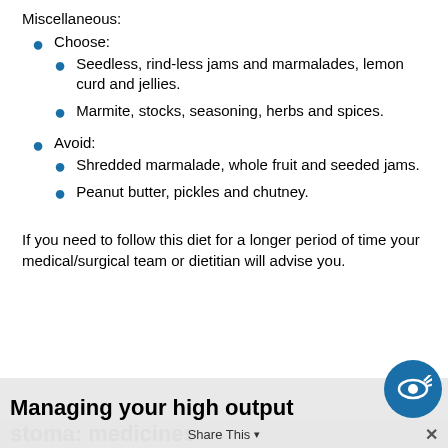Miscellaneous:
Choose:
Seedless, rind-less jams and marmalades, lemon curd and jellies.
Marmite, stocks, seasoning, herbs and spices.
Avoid:
Shredded marmalade, whole fruit and seeded jams.
Peanut butter, pickles and chutney.
If you need to follow this diet for a longer period of time your medical/surgical team or dietitian will advise you.
Managing your high output stoma: medicines